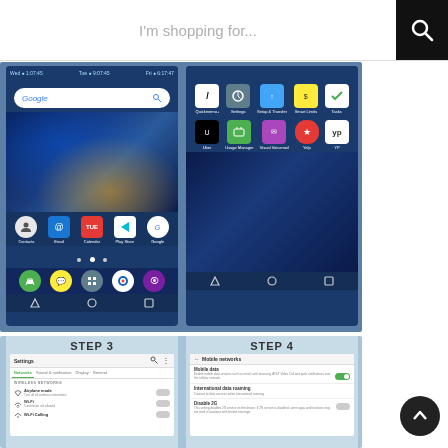I'm shopping for...
[Figure (screenshot): Two Android smartphone screenshots side by side showing home screen and app drawer with icons including Contacts, Email, Calendar, Play Store, Google, Phone, Messages, Apps, Chrome, Camera on left; Quickmemo+, Settings, Setup & Transfer, Smart Limits, Tasks, Uber, Usage Manager, Visual Voicemail, Yelp, YP on right. Both phones show a dark blue swirling wallpaper.]
[Figure (screenshot): Two Android smartphone screenshots labeled STEP 3 and STEP 4. STEP 3 shows Settings > Networks tab with Wireless Networks section showing Airplane mode (off), Wi-Fi (off, Connection not allowed), Wi-Fi Calling. STEP 4 shows Mobile networks screen with Mobile data enabled (toggle on), International data roaming, and Disable 2G option with toggle.]